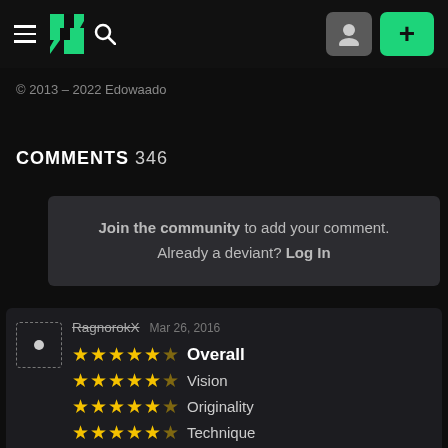DeviantArt navigation bar with hamburger menu, DA logo, search icon, profile button, and add button
© 2013 – 2022 Edowaado
COMMENTS 346
Join the community to add your comment. Already a deviant? Log In
RagnorokX  Mar 26, 2016  ★★★★★ Overall  ★★★★★ Vision  ★★★★★ Originality  ★★★★★ Technique  ★★★★★ Impact